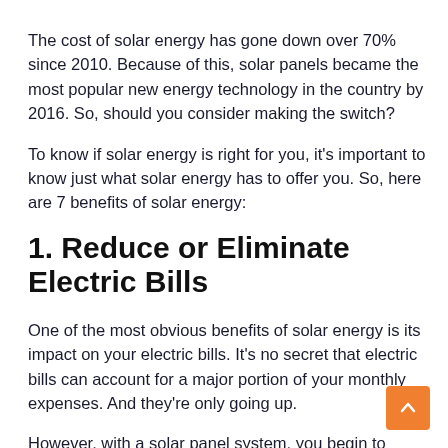The cost of solar energy has gone down over 70% since 2010. Because of this, solar panels became the most popular new energy technology in the country by 2016. So, should you consider making the switch?
To know if solar energy is right for you, it's important to know just what solar energy has to offer you. So, here are 7 benefits of solar energy:
1. Reduce or Eliminate Electric Bills
One of the most obvious benefits of solar energy is its impact on your electric bills. It's no secret that electric bills can account for a major portion of your monthly expenses. And they're only going up.
However, with a solar panel system, you begin to generate free power that will last for 25+ years. As long as your system is functioning, you'll be seeing major energy savings.